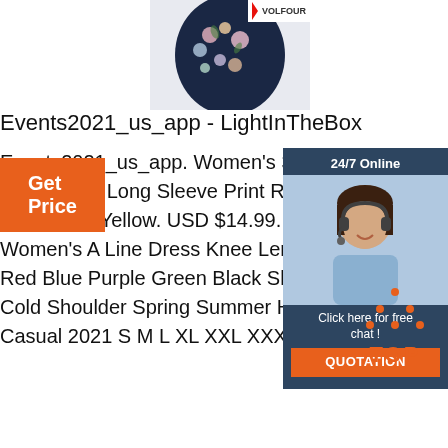[Figure (photo): Floral print women's dress/top product image, partially visible, with a VOLFOUR logo in the top right corner]
Events2021_us_app - LightInTheBox
Events2021_us_app. Women's 3D Cat T Graphic 3D Long Sleeve Print Round Nec Black Blue Yellow. USD $14.99. USD $16 Women's A Line Dress Knee Length Dres Red Blue Purple Green Black Sleeveless Cold Shoulder Spring Summer Halter Nec Casual 2021 S M L XL XXL XXXL.
[Figure (photo): 24/7 Online chat widget with a woman wearing a headset, and a QUOTATION button]
Get Price
[Figure (other): TOP button with orange dotted triangle icon and TOP text]